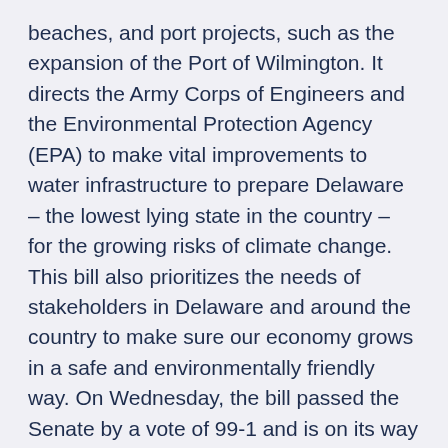beaches, and port projects, such as the expansion of the Port of Wilmington. It directs the Army Corps of Engineers and the Environmental Protection Agency (EPA) to make vital improvements to water infrastructure to prepare Delaware – the lowest lying state in the country – for the growing risks of climate change. This bill also prioritizes the needs of stakeholders in Delaware and around the country to make sure our economy grows in a safe and environmentally friendly way. On Wednesday, the bill passed the Senate by a vote of 99-1 and is on its way to the President's desk to be signed into law.
“This infrastructure bill delivers for Delaware and families across our